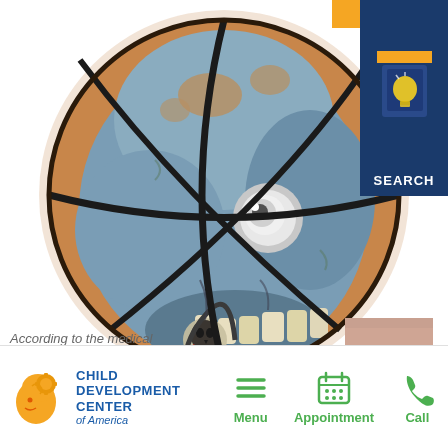[Figure (illustration): A zombie/monster basketball illustration — a basketball with a grotesque zombie face painted on it, featuring one white eye, exposed teeth, blood drips, skull imagery, a spider, and a stethoscope. The ball has the typical black curved lines of a basketball. Creepy/horror art style.]
[Figure (logo): Search button in top-right corner: dark navy blue rectangle with a lightbulb icon and orange accent, with the word SEARCH in white text below the icon.]
According to the medical
[Figure (logo): Child Development Center of America logo: orange brain/head icon with a gear, next to text reading CHILD DEVELOPMENT CENTER of America in blue.]
[Figure (infographic): Mobile navigation bar with three items: Menu (hamburger icon, green), Appointment (calendar icon, green), Call (phone icon, green). All icons and labels are in green.]